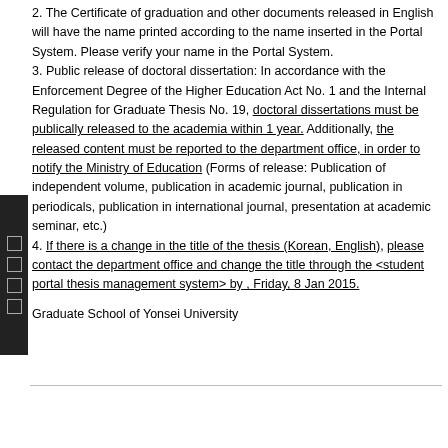2. The Certificate of graduation and other documents released in English will have the name printed according to the name inserted in the Portal System. Please verify your name in the Portal System.
3. Public release of doctoral dissertation: In accordance with the Enforcement Degree of the Higher Education Act No. 1 and the Internal Regulation for Graduate Thesis No. 19, doctoral dissertations must be publically released to the academia within 1 year. Additionally, the released content must be reported to the department office, in order to notify the Ministry of Education (Forms of release: Publication of independent volume, publication in academic journal, publication in periodicals, publication in international journal, presentation at academic seminar, etc.)
4. If there is a change in the title of the thesis (Korean, English), please contact the department office and change the title through the <student portal thesis management system> by , Friday, 8 Jan 2015.
Graduate School of Yonsei University